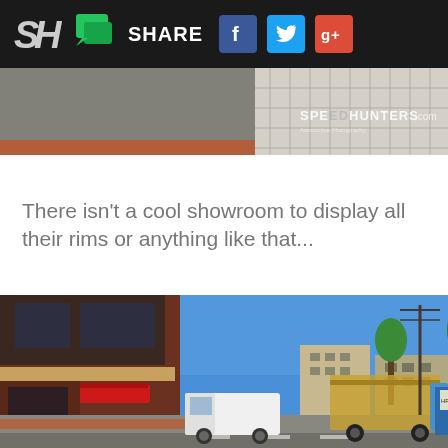SH | SHARE [social icons: Facebook, Twitter, Google+]
[Figure (photo): Partial view of a building exterior with grid-patterned facade and SPEEDHUNTERS.com watermark]
There isn't a cool showroom to display all their rims or anything like that...
[Figure (photo): Street scene in Japan showing a commercial building with red canopy, delivery trucks parked on the street, trees, blue sky, and urban buildings in the background]